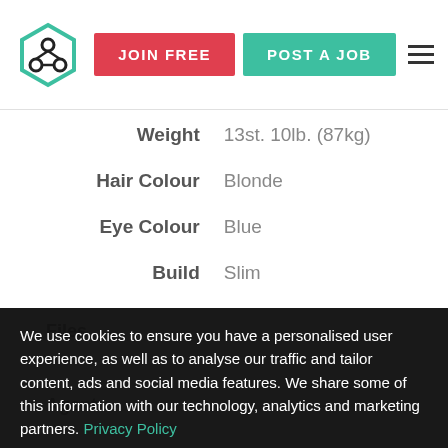JOIN FREE | POST A JOB
| Attribute | Value |
| --- | --- |
| Weight | 13st. 10lb. (87kg) |
| Hair Colour | Blonde |
| Eye Colour | Blue |
| Build | Slim |
Files
We use cookies to ensure you have a personalised user experience, as well as to analyse our traffic and tailor content, ads and social media features. We share some of this information with our technology, analytics and marketing partners. Privacy Policy
Agent
ACCEPT COOKIES